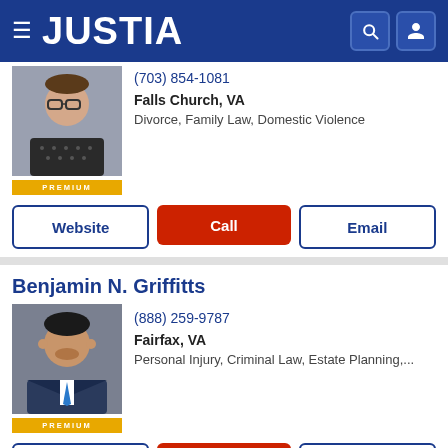JUSTIA
(703) 854-1081
Falls Church, VA
Divorce, Family Law, Domestic Violence
Website | Call | Email
Benjamin N. Griffitts
(888) 259-9787
Fairfax, VA
Personal Injury, Criminal Law, Estate Planning,...
Website | Call | Email
Benjamin C. Charlton